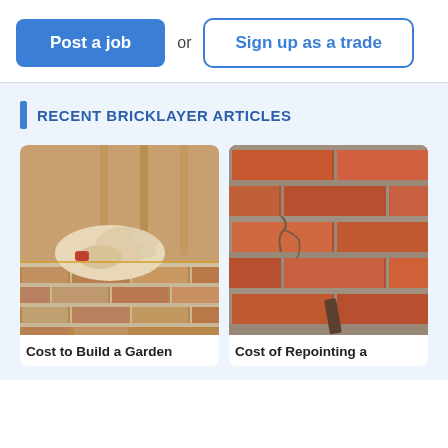Post a job
or
Sign up as a trade
RECENT BRICKLAYER ARTICLES
[Figure (photo): Close-up of gloved hand laying bricks with mortar on a wall under construction]
Cost to Build a Garden
[Figure (photo): Close-up of old brick wall with deteriorating mortar joints needing repointing]
Cost of Repointing a